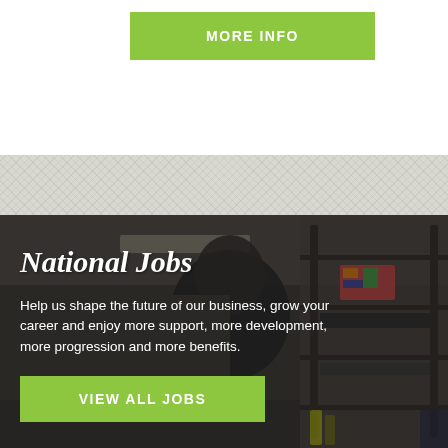MORE INFO
[Figure (photo): Kitchen worker in dark clothing working in a commercial kitchen environment with shelving and equipment visible]
National Jobs
Help us shape the future of our business, grow your career and enjoy more support, more development, more progression and more benefits.
VIEW ALL JOBS